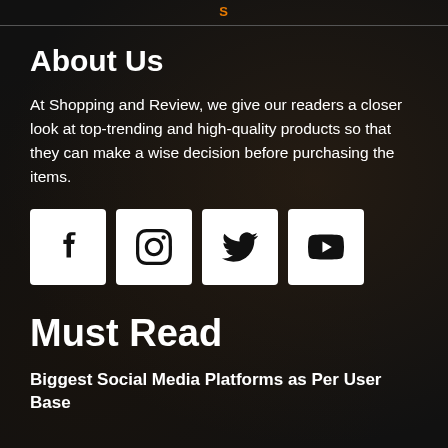S
About Us
At Shopping and Review, we give our readers a closer look at top-trending and high-quality products so that they can make a wise decision before purchasing the items.
[Figure (illustration): Four social media icon buttons: Facebook, Instagram, Twitter, YouTube — white square buttons with black icons]
Must Read
Biggest Social Media Platforms as Per User Base